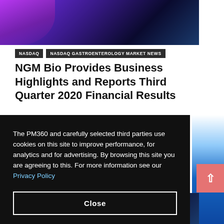[Figure (photo): Dark purple and blue gradient banner image with abstract geometric shapes at top of page]
NASDAQ | NASDAQ GASTROENTEROLOGY MARKET NEWS
NGM Bio Provides Business Highlights and Reports Third Quarter 2020 Financial Results
The PM360 and carefully selected third parties use cookies on this site to improve performance, for analytics and for advertising. By browsing this site you are agreeing to this. For more information see our Privacy Policy
Close